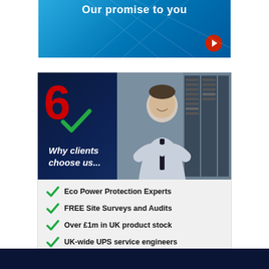[Figure (illustration): Blue gradient banner with text 'Our promise to you' and a red circular arrow button]
[Figure (illustration): Dark navy card header with large red number 6, green checkmark logo, and a photo of a man in a server room with text 'Why clients choose us...']
Eco Power Protection Experts
FREE Site Surveys and Audits
Over £1m in UK product stock
UK-wide UPS service engineers
UK-wide electrical works teams
Maintenance plans from £200